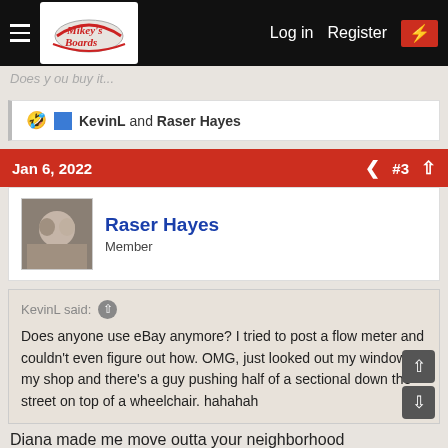Mikey's Board — Log in  Register
Does y ou buy it...
🤣 KevinL and Raser Hayes
Jan 6, 2022  #3
Raser Hayes
Member
KevinL said: ↑
Does anyone use eBay anymore? I tried to post a flow meter and couldn't even figure out how. OMG, just looked out my window at my shop and there's a guy pushing half of a sectional down the street on top of a wheelchair. hahahah
Diana made me move outta your neighborhood